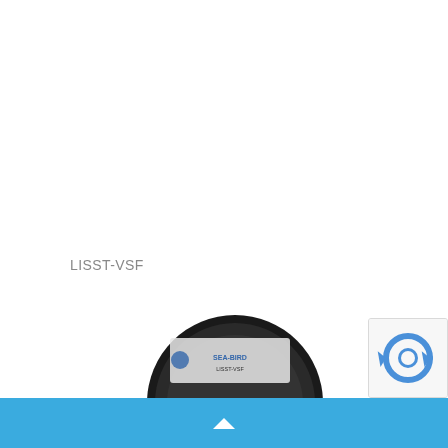LISST-VSF
[Figure (photo): Partial view of a cylindrical scientific instrument (LISST-VSF oceanographic sensor) with a circular face visible at the bottom center. The instrument appears dark/black with a label. Partially cut off at the bottom of the page.]
[Figure (other): reCAPTCHA badge/widget in lower right corner, partially visible, showing the reCAPTCHA logo with blue circular arrows.]
Blue navigation bar with upward chevron arrow at the bottom of the page.